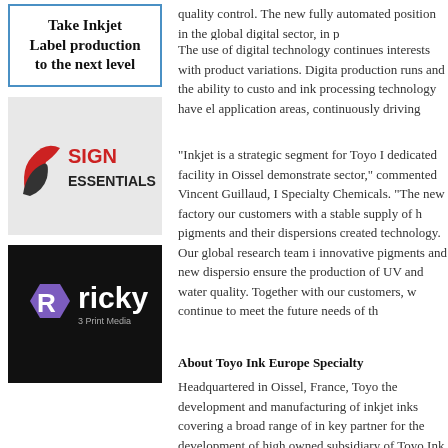[Figure (infographic): Ad box: 'Take Inkjet Label production to the next level' with blue border]
[Figure (logo): Sign Essentials logo on grey background with red and black swoosh icon]
[Figure (logo): Ricky 3 Print Media logo on black background with purple hexagon and white R]
quality control. The new fully automated position in the global digital sector, in p
The use of digital technology continues interests with product variations. Digita production runs and the ability to custo and ink processing technology have el application areas, continuously driving
"Inkjet is a strategic segment for Toyo I dedicated facility in Oissel demonstrates sector," commented Vincent Guillaud, I Specialty Chemicals. "The new factory our customers with a stable supply of h pigments and their dispersions created technology. Our global research team i innovative pigments and new dispersio ensure the production of UV and water quality. Together with our customers, w continue to meet the future needs of th
About Toyo Ink Europe Specialty
Headquartered in Oissel, France, Toyo the development and manufacturing of inkjet inks covering a broad range of in key partner for the development of high owned subsidiary of Toyo Ink SC Ho